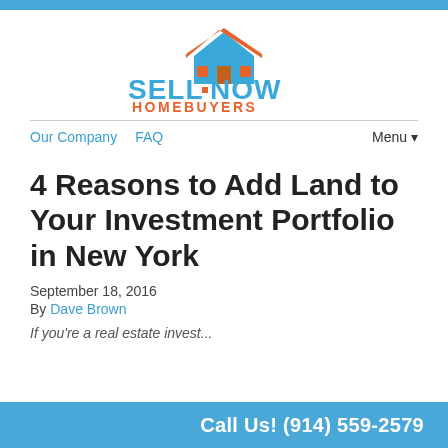[Figure (logo): Sell Now Homebuyers logo with house icon above text SELL NOW in blue bold letters and HOMEBUYERS in orange below]
Our Company   FAQ   Menu▼
4 Reasons to Add Land to Your Investment Portfolio in New York
September 18, 2016
By Dave Brown
If you're a real estate invest...
Call Us! (914) 559-2579